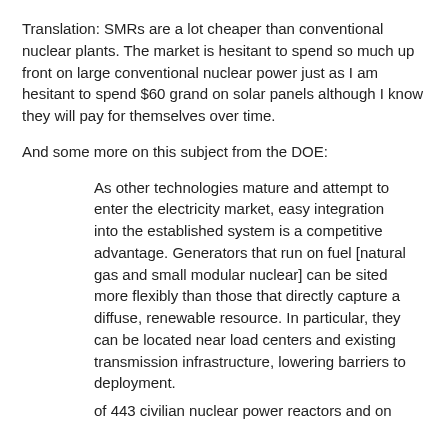Translation: SMRs are a lot cheaper than conventional nuclear plants. The market is hesitant to spend so much up front on large conventional nuclear power just as I am hesitant to spend $60 grand on solar panels although I know they will pay for themselves over time.
And some more on this subject from the DOE:
As other technologies mature and attempt to enter the electricity market, easy integration into the established system is a competitive advantage. Generators that run on fuel [natural gas and small modular nuclear] can be sited more flexibly than those that directly capture a diffuse, renewable resource. In particular, they can be located near load centers and existing transmission infrastructure, lowering barriers to deployment.
of 443 civilian nuclear power reactors and on